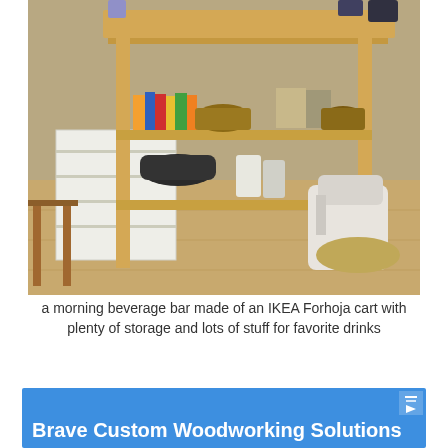[Figure (photo): A wooden IKEA Forhoja kitchen cart used as a morning beverage bar. The cart has multiple shelves stocked with books, a basket, coffee bags, jars, pots, and a stand mixer on the floor beside it. A white drawer unit is visible on the left side.]
a morning beverage bar made of an IKEA Forhoja cart with plenty of storage and lots of stuff for favorite drinks
[Figure (infographic): Blue advertisement banner for Brave Custom Woodworking Solutions with a close/play button in the top right corner.]